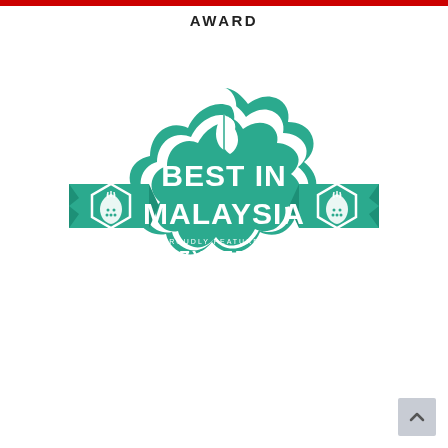AWARD
[Figure (logo): Best in Malaysia award badge — teal/green scalloped circular badge with banner ribbons on left and right featuring strawberry hexagon emblems, white leaf icon at top, bold white text 'BEST IN MALAYSIA', smaller text 'PROUDLY FEATURED ON', and 'COZYBERRIES' below. Badge has teal outer ring and white inner ring border.]